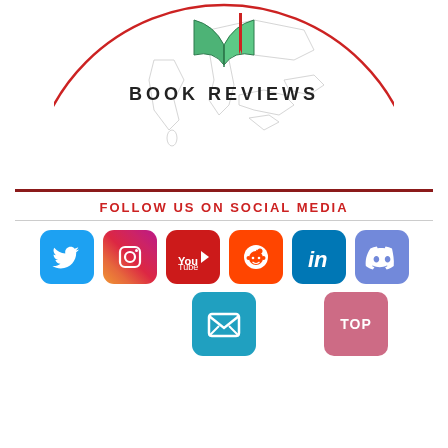[Figure (logo): Circular logo with red border showing a map of Asia with an open book on top and a red ribbon, text 'BOOK REVIEWS' inside]
FOLLOW US ON SOCIAL MEDIA
[Figure (infographic): Row of social media icons: Twitter (blue bird), Instagram (gradient camera), YouTube (red play), Reddit (orange alien), LinkedIn (blue 'in'), Discord (purple), Email (teal envelope), and TOP button (pink)]